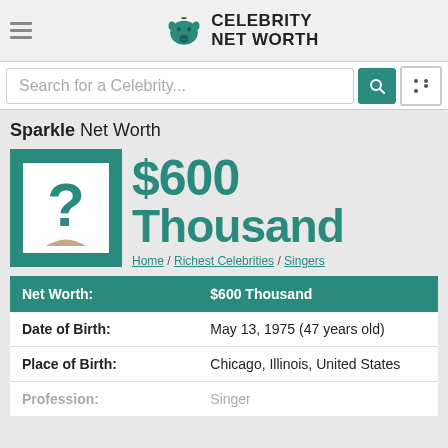Celebrity Net Worth
Search for a Celebrity...
Sparkle Net Worth
[Figure (illustration): Celebrity profile placeholder image with teal background and white box containing a question mark, representing unknown celebrity photo]
$600 Thousand
Home / Richest Celebrities / Singers
| Field | Value |
| --- | --- |
| Net Worth: | $600 Thousand |
| Date of Birth: | May 13, 1975 (47 years old) |
| Place of Birth: | Chicago, Illinois, United States |
| Profession: | Singer |